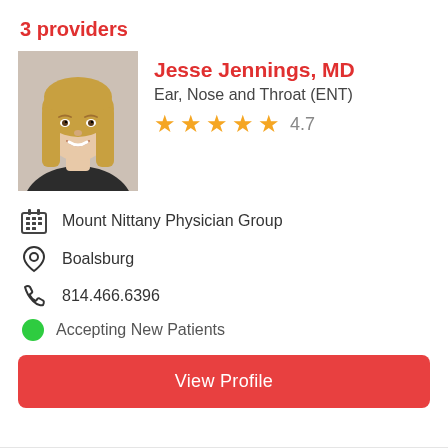3 providers
[Figure (photo): Headshot photo of Dr. Jesse Jennings, a woman with blonde hair, smiling, professional attire, light gray background]
Jesse Jennings, MD
Ear, Nose and Throat (ENT)
★★★★★ 4.7
Mount Nittany Physician Group
Boalsburg
814.466.6396
Accepting New Patients
View Profile